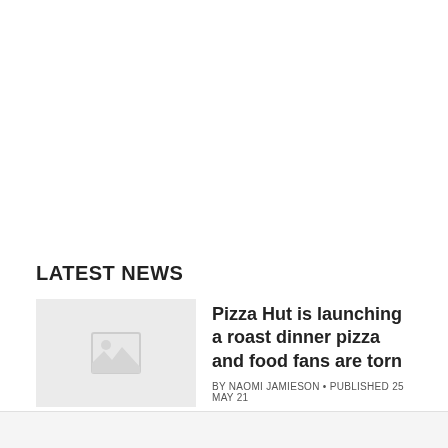LATEST NEWS
[Figure (photo): Placeholder thumbnail image with grey background and image icon]
Pizza Hut is launching a roast dinner pizza and food fans are torn
BY NAOMI JAMIESON • PUBLISHED 25 MAY 21